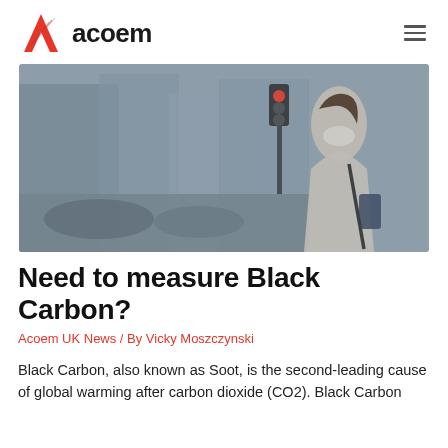[Figure (logo): Acoem logo with red stylized A icon and bold black 'acoem' text]
[Figure (photo): Woman wearing a face mask standing on a busy urban street with blurred traffic and buildings in the background, near a red traffic light]
Need to measure Black Carbon?
Acoem UK News / By Vicky Moszczynski
Black Carbon, also known as Soot, is the second-leading cause of global warming after carbon dioxide (CO2). Black Carbon